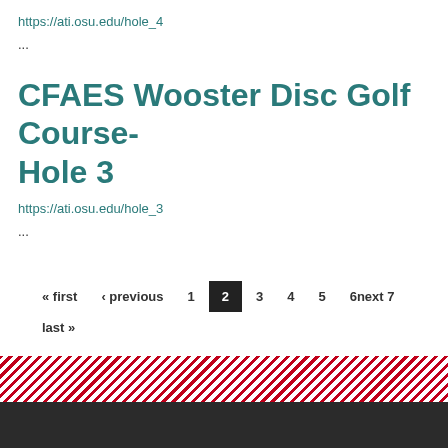https://ati.osu.edu/hole_4
...
CFAES Wooster Disc Golf Course- Hole 3
https://ati.osu.edu/hole_3
...
« first  ‹ previous  1  2  3  4  5  6next 7  last »  9  ...